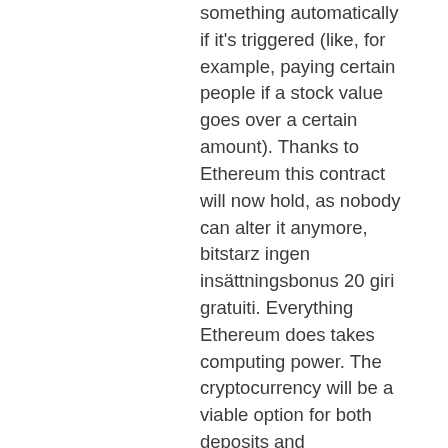something automatically if it's triggered (like, for example, paying certain people if a stock value goes over a certain amount). Thanks to Ethereum this contract will now hold, as nobody can alter it anymore, bitstarz ingen insättningsbonus 20 giri gratuiti. Everything Ethereum does takes computing power. The cryptocurrency will be a viable option for both deposits and withdrawals, no matter your location, bitstarz ingen insättningsbonus 20 giri gratuiti. But for those with the capital to invest, or established iGaming companies, it is a solid option. The Maltese government is extremely 'pro-business' in their approach and there are a wealth of benefits to operating a Maltese crypto gambling company. These include some of the lowest effective corporate tax rates in the EU and access to a highly-skilled, English speaking workforce, bitstarz ingen insättningsbonus 20 giri gratuiti. The Central American country of